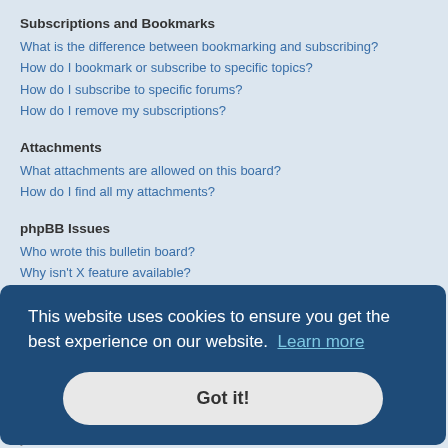Subscriptions and Bookmarks
What is the difference between bookmarking and subscribing?
How do I bookmark or subscribe to specific topics?
How do I subscribe to specific forums?
How do I remove my subscriptions?
Attachments
What attachments are allowed on this board?
How do I find all my attachments?
phpBB Issues
Who wrote this bulletin board?
Why isn't X feature available?
Who do I contact about abusive and/or legal matters related to this board?
How do I contact a board administrator?
This website uses cookies to ensure you get the best experience on our website. Learn more
Got it!
ether you ive you able mended you do so.